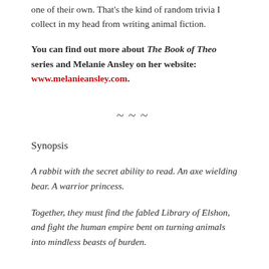one of their own. That’s the kind of random trivia I collect in my head from writing animal fiction.
You can find out more about The Book of Theo series and Melanie Ansley on her website: www.melanieansley.com.
~~~
Synopsis
A rabbit with the secret ability to read. An axe wielding bear. A warrior princess.
Together, they must find the fabled Library of Elshon, and fight the human empire bent on turning animals into mindless beasts of burden.